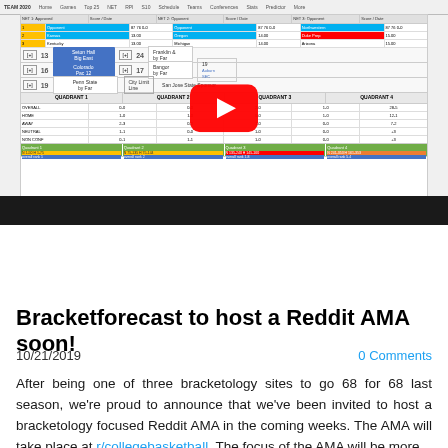[Figure (screenshot): YouTube video thumbnail showing a bracketology spreadsheet/table with colored cells, team names, seeds, and bracket data. A large red YouTube play button overlay is centered on the image. A dark black bar is at the bottom of the video player.]
[Figure (other): Tweet button — a rounded blue button with the Twitter bird icon and the word 'Tweet']
0 Comments
Bracketforecast to host a Reddit AMA soon!
10/21/2019
0 Comments
After being one of three bracketology sites to go 68 for 68 last season, we're proud to announce that we've been invited to host a bracketology focused Reddit AMA in the coming weeks. The AMA will take place at r/collegebasketball. The focus of the AMA will be more